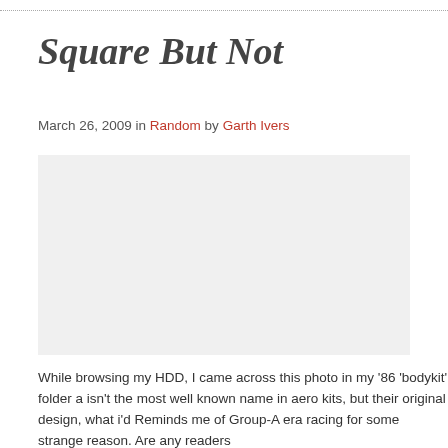Square But Not
March 26, 2009 in Random by Garth Ivers
[Figure (photo): A car photo from an '86 bodykit folder, showing a vehicle with aero kit design reminiscent of Group-A era racing.]
While browsing my HDD, I came across this photo in my '86 'bodykit' folder a isn't the most well known name in aero kits, but their original design, what i'd Reminds me of Group-A era racing for some strange reason. Are any readers